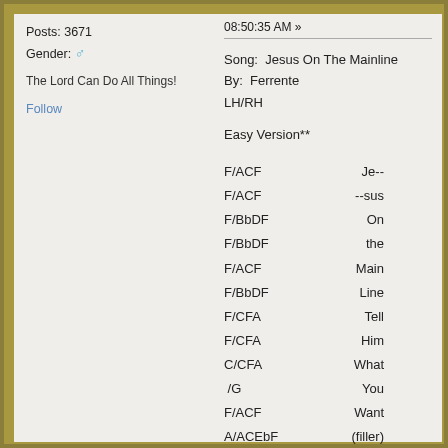Posts: 3671
Gender: ♂
The Lord Can Do All Things!
Follow
08:50:35 AM »
Song:  Jesus On The Mainline
By:  Ferrente
LH/RH
Easy Version**
F/ACF	Je--
F/ACF	--sus
F/BbDF	On
F/BbDF	the
F/ACF	Main
F/BbDF	Line
F/CFA	Tell
F/CFA	Him
C/CFA	What
/G	You
F/ACF	Want
A/ACEbF	(filler)
Bb/BbDF